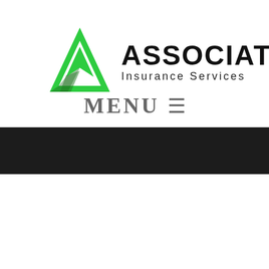[Figure (logo): Associated Insurance Services logo with green triangle/arrow icon and bold black text reading ASSOCIATED with Insurance Services below]
MENU ≡
[Figure (other): Dark/black horizontal banner bar]